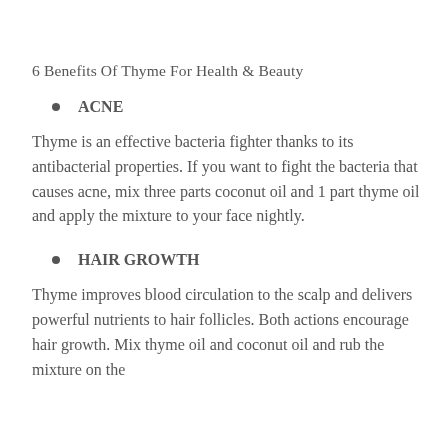6 Benefits Of Thyme For Health & Beauty
ACNE
Thyme is an effective bacteria fighter thanks to its antibacterial properties. If you want to fight the bacteria that causes acne, mix three parts coconut oil and 1 part thyme oil and apply the mixture to your face nightly.
HAIR GROWTH
Thyme improves blood circulation to the scalp and delivers powerful nutrients to hair follicles. Both actions encourage hair growth. Mix thyme oil and coconut oil and rub the mixture on the